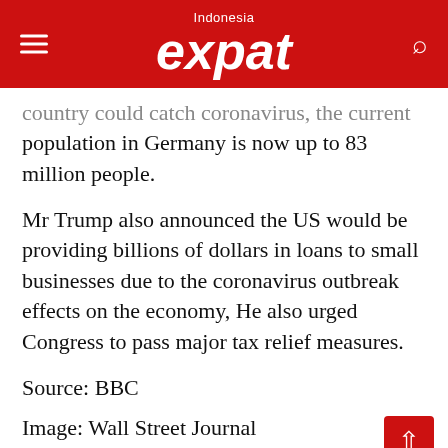Indonesia expat
country could catch coronavirus, the current population in Germany is now up to 83 million people.
Mr Trump also announced the US would be providing billions of dollars in loans to small businesses due to the coronavirus outbreak effects on the economy, He also urged Congress to pass major tax relief measures.
Source: BBC
Image: Wall Street Journal
See: Interestingly Named Doctor Heading Up Virus Outbreak for